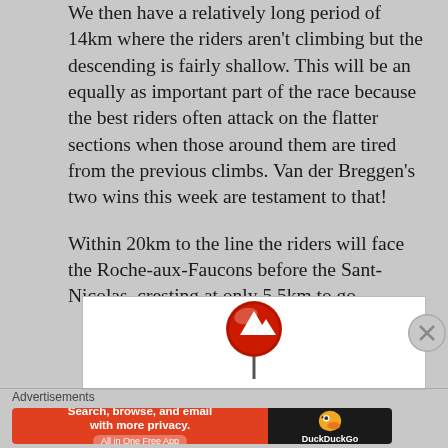We then have a relatively long period of 14km where the riders aren't climbing but the descending is fairly shallow. This will be an equally as important part of the race because the best riders often attack on the flatter sections when those around them are tired from the previous climbs. Van der Breggen's two wins this week are testament to that!

Within 20km to the line the riders will face the Roche-aux-Faucons before the Sant-Nicolas, cresting at only 5.5km to go.
[Figure (other): A cycling route marker sign — red circular sign with white mountain/hill icon, mounted on a post]
Advertisements
[Figure (other): DuckDuckGo advertisement banner: 'Search, browse, and email with more privacy. All in One Free App' with DuckDuckGo duck logo on dark background]